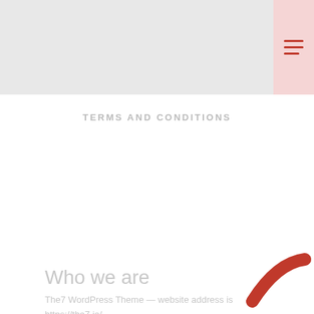TERMS AND CONDITIONS
Who we are
The7 WordPress Theme — website address is https://the7.io/
What personal data we collect and why we collect it
1. Comments